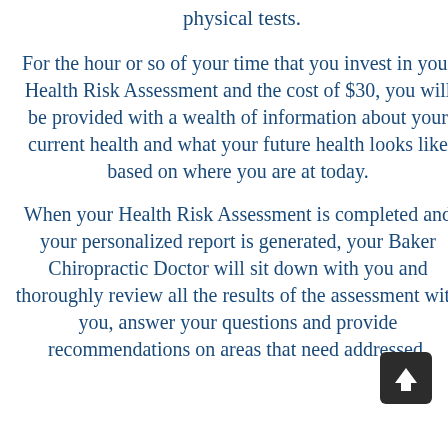physical tests.
For the hour or so of your time that you invest in your Health Risk Assessment and the cost of $30, you will be provided with a wealth of information about your current health and what your future health looks like based on where you are at today.
When your Health Risk Assessment is completed and your personalized report is generated, your Baker Chiropractic Doctor will sit down with you and thoroughly review all the results of the assessment with you, answer your questions and provide recommendations on areas that need addressed.